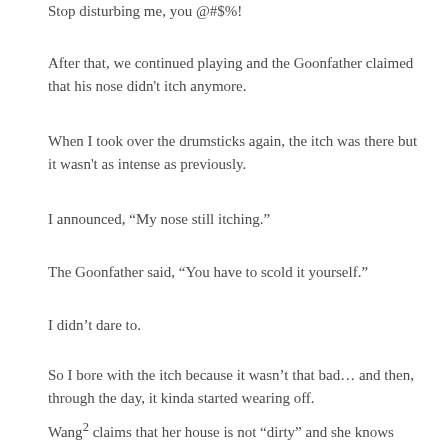Stop disturbing me, you @#$%!
After that, we continued playing and the Goonfather claimed that his nose didn't itch anymore.
When I took over the drumsticks again, the itch was there but it wasn't as intense as previously.
I announced, “My nose still itching.”
The Goonfather said, “You have to scold it yourself.”
I didn’t dare to.
So I bore with the itch because it wasn’t that bad… and then, through the day, it kinda started wearing off.
Wang² claims that her house is not “dirty” and she knows because she can feel when spirits are around. She said my old place is haunted and it really is, as